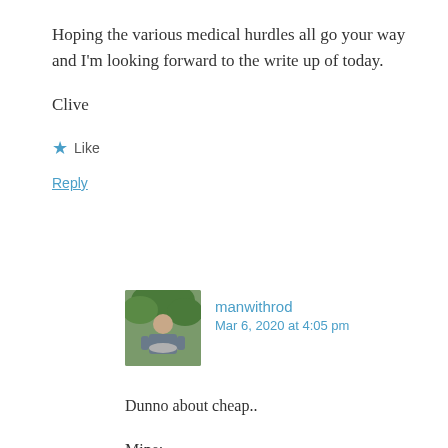Hoping the various medical hurdles all go your way and I'm looking forward to the write up of today.
Clive
★ Like
Reply
manwithrod
Mar 6, 2020 at 4:05 pm
Dunno about cheap..
Mine: